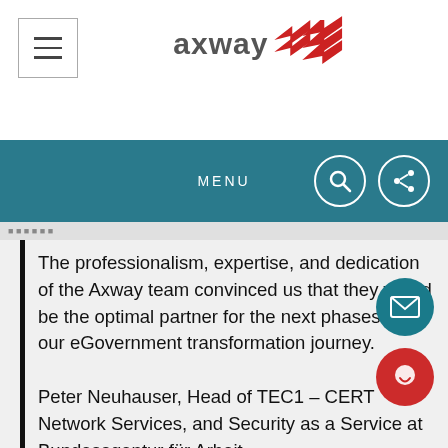[Figure (logo): Axway company logo with red arrow/swoosh graphic and grey axway text]
MENU
The professionalism, expertise, and dedication of the Axway team convinced us that they would be the optimal partner for the next phases of our eGovernment transformation journey.
Peter Neuhauser, Head of TEC1 – CERT Network Services, and Security as a Service at Bundesagentur für Arbeit